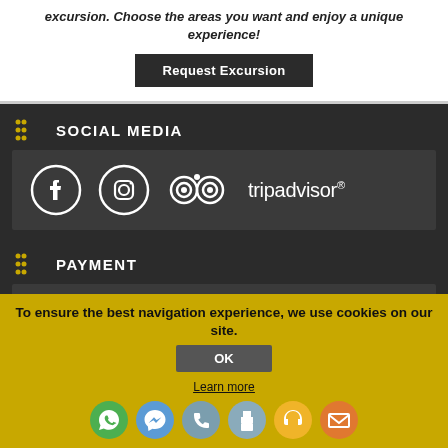excursion. Choose the areas you want and enjoy a unique experience!
Request Excursion
SOCIAL MEDIA
[Figure (logo): Facebook, Instagram, and Tripadvisor social media icons]
PAYMENT
[Figure (infographic): Payment icon with wallet and text: Payment may be in cash upon arriving your destination.]
Payment may be in cash upon arriving your destination.
[Figure (other): Payment card logos: VISA, Mastercard, and others]
To ensure the best navigation experience, we use cookies on our site.
OK
Learn more
[Figure (other): Social media contact icons: WhatsApp, Messenger, phone, print, headset, email]